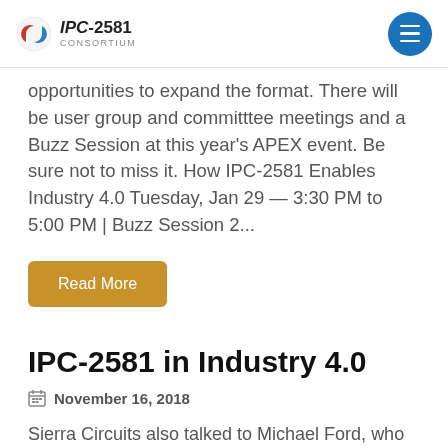IPC-2581 CONSORTIUM
opportunities to expand the format. There will be user group and committtee meetings and a Buzz Session at this year's APEX event. Be sure not to miss it. How IPC-2581 Enables Industry 4.0 Tuesday, Jan 29 — 3:30 PM to 5:00 PM | Buzz Session 2...
Read More
IPC-2581 in Industry 4.0
November 16, 2018
Sierra Circuits also talked to Michael Ford, who is leading the IPC-1782 committee, about the use of IPC-